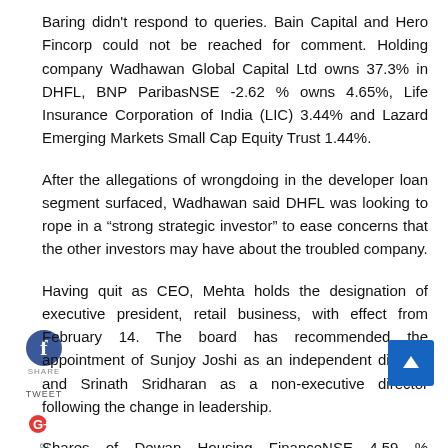Baring didn't respond to queries. Bain Capital and Hero Fincorp could not be reached for comment. Holding company Wadhawan Global Capital Ltd owns 37.3% in DHFL, BNP ParibasNSE -2.62 % owns 4.65%, Life Insurance Corporation of India (LIC) 3.44% and Lazard Emerging Markets Small Cap Equity Trust 1.44%.
After the allegations of wrongdoing in the developer loan segment surfaced, Wadhawan said DHFL was looking to rope in a “strong strategic investor” to ease concerns that the other investors may have about the troubled company.
Having quit as CEO, Mehta holds the designation of executive president, retail business, with effect from February 14. The board has recommended the appointment of Sunjoy Joshi as an independent director and Srinath Sridharan as a non-executive director following the change in leadership.
Shares of Dewan Housing FinanceNSE 4.59 % Corporation rose